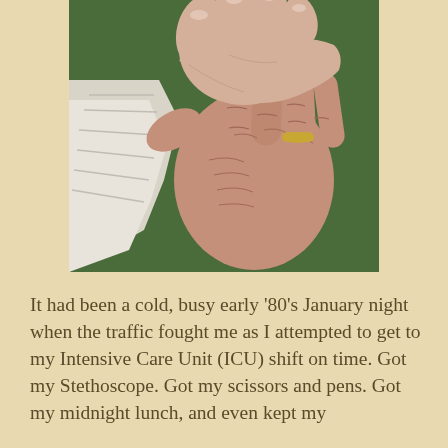[Figure (photo): Close-up photograph of two hands: one younger hand holding/touching an older, wrinkled hand with a gold wedding ring, set against a green background. A white cloth or garment is visible on the left side.]
It had been a cold, busy early '80's January night when the traffic fought me as I attempted to get to my Intensive Care Unit (ICU) shift on time. Got my Stethoscope. Got my scissors and pens. Got my midnight lunch, and even kept my